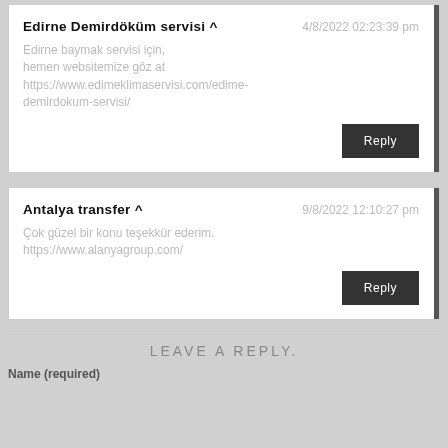Edirne Demirdöküm servisi ^
4/8/2022 02:23:39 pm
Edirne baymak servisi için, hemen websitemize göz at https://www.edimeklimaservisi.com/edime-demirdokum-servisi/
Reply
Antalya transfer ^
9/8/2022 12:10:27 pm
Çok güzel bir konu teşekkür ederim. https://www.alanyagroup.com/
Reply
LEAVE A REPLY.
Name (required)